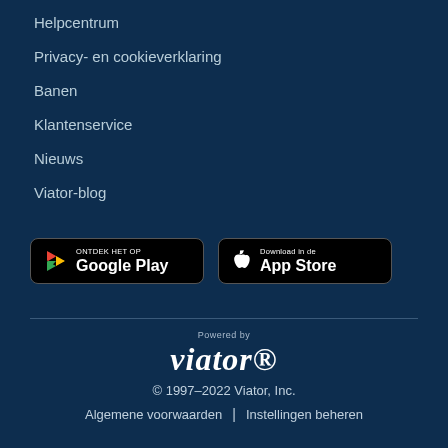Helpcentrum
Privacy- en cookieverklaring
Banen
Klantenservice
Nieuws
Viator-blog
[Figure (screenshot): Google Play store badge with text 'ONTDEK HET OP Google Play']
[Figure (screenshot): Apple App Store badge with text 'Download in de App Store']
Powered by
viator
© 1997–2022 Viator, Inc.
Algemene voorwaarden | Instellingen beheren